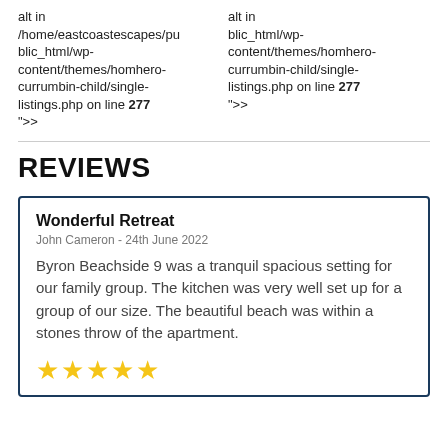alt in /home/eastcoastescapes/public_html/wp-content/themes/homhero-currumbin-child/single-listings.php on line 277 ">
alt in /home/eastcoastescapes/public_html/wp-content/themes/homhero-currumbin-child/single-listings.php on line 277 ">
REVIEWS
Wonderful Retreat
John Cameron - 24th June 2022
Byron Beachside 9 was a tranquil spacious setting for our family group. The kitchen was very well set up for a group of our size. The beautiful beach was within a stones throw of the apartment.
★★★★★